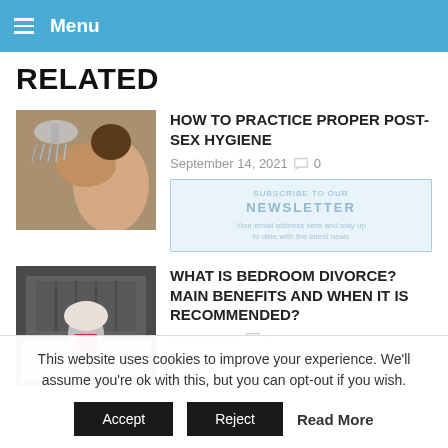Menu
RELATED
[Figure (photo): Person in shower with showerhead spraying water]
HOW TO PRACTICE PROPER POST-SEX HYGIENE
September 14, 2021  0
[Figure (photo): Person sitting on bed with pillow over head]
WHAT IS BEDROOM DIVORCE? MAIN BENEFITS AND WHEN IT IS RECOMMENDED?
July 5, 2021  0
This website uses cookies to improve your experience. We'll assume you're ok with this, but you can opt-out if you wish.